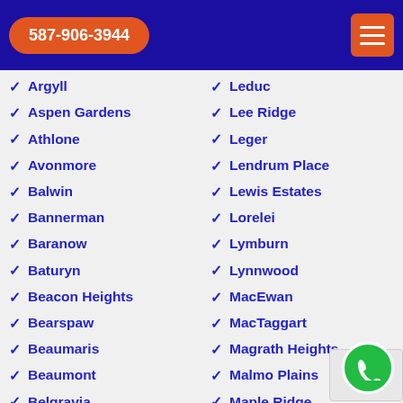587-906-3944
Argyll
Aspen Gardens
Athlone
Avonmore
Balwin
Bannerman
Baranow
Baturyn
Beacon Heights
Bearspaw
Beaumaris
Beaumont
Belgravia
Leduc
Lee Ridge
Leger
Lendrum Place
Lewis Estates
Lorelei
Lymburn
Lynnwood
MacEwan
MacTaggart
Magrath Heights
Malmo Plains
Maple Ridge